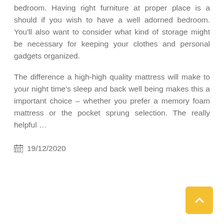bedroom. Having right furniture at proper place is a should if you wish to have a well adorned bedroom. You'll also want to consider what kind of storage might be necessary for keeping your clothes and personal gadgets organized.
The difference a high-high quality mattress will make to your night time's sleep and back well being makes this a important choice – whether you prefer a memory foam mattress or the pocket sprung selection. The really helpful …
📅 19/12/2020